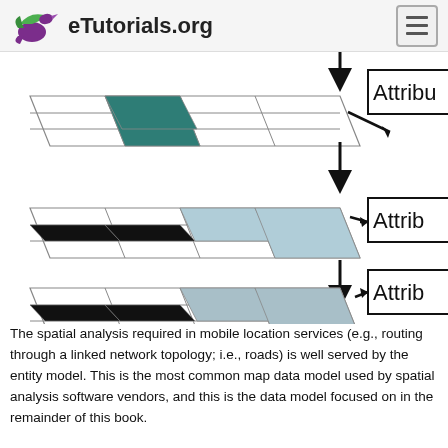eTutorials.org
[Figure (schematic): Three stacked raster grid layers shown in isometric perspective, each with colored cells representing spatial data layers. Arrows point downward between layers and to the right toward partially visible 'Attrib' (Attribute) table boxes. Top layer has a teal/dark-green highlighted cell. Middle layer has a black row and light-blue highlighted cell. Bottom layer has a black row and light-blue/grey highlighted cell.]
The spatial analysis required in mobile location services (e.g., routing through a linked network topology; i.e., roads) is well served by the entity model. This is the most common map data model used by spatial analysis software vendors, and this is the data model focused on in the remainder of this book.